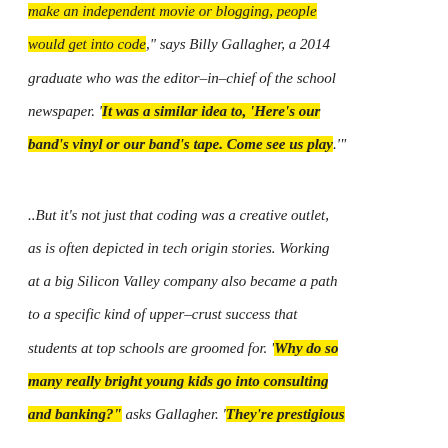make an independent movie or blogging, people would get into code," says Billy Gallagher, a 2014 graduate who was the editor-in-chief of the school newspaper. 'It was a similar idea to, 'Here's our band's vinyl or our band's tape. Come see us play.'" ..But it's not just that coding was a creative outlet, as is often depicted in tech origin stories. Working at a big Silicon Valley company also became a path to a specific kind of upper-crust success that students at top schools are groomed for. 'Why do so many really bright young kids go into consulting and banking?' asks Gallagher. 'They're prestigious